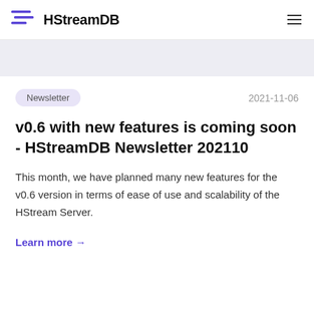HStreamDB
Newsletter   2021-11-06
v0.6 with new features is coming soon - HStreamDB Newsletter 202110
This month, we have planned many new features for the v0.6 version in terms of ease of use and scalability of the HStream Server.
Learn more →